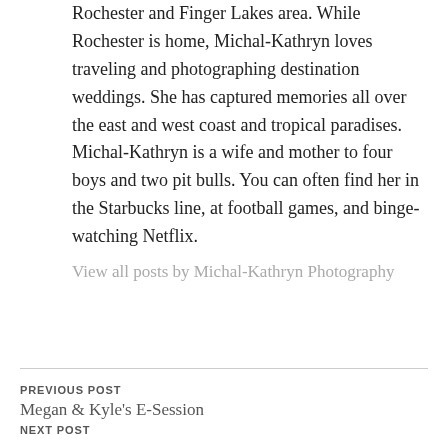Rochester and Finger Lakes area. While Rochester is home, Michal-Kathryn loves traveling and photographing destination weddings. She has captured memories all over the east and west coast and tropical paradises. Michal-Kathryn is a wife and mother to four boys and two pit bulls. You can often find her in the Starbucks line, at football games, and binge-watching Netflix.
View all posts by Michal-Kathryn Photography
PREVIOUS POST
Megan & Kyle's E-Session
NEXT POST